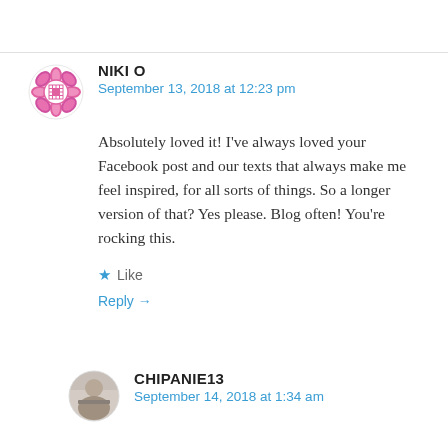[Figure (illustration): Avatar icon for NIKI O — decorative pink/magenta geometric mandala-like circular icon]
NIKI O
September 13, 2018 at 12:23 pm
Absolutely loved it! I've always loved your Facebook post and our texts that always make me feel inspired, for all sorts of things. So a longer version of that? Yes please. Blog often! You're rocking this.
★ Like
Reply →
[Figure (photo): Small circular avatar photo of CHIPANIE13 — person at a table]
CHIPANIE13
September 14, 2018 at 1:34 am